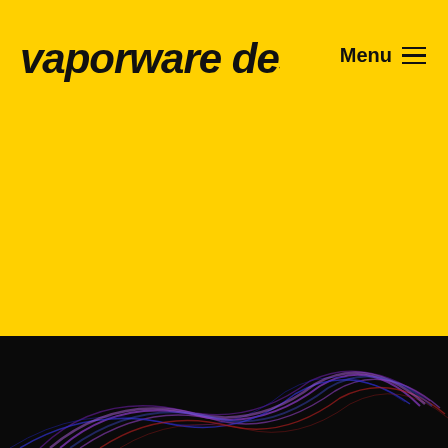vaporware design
Menu ≡
[Figure (illustration): Dark background with abstract colorful glowing lines in purple, blue, and red forming a swirling pattern, partially visible at the bottom of the page.]